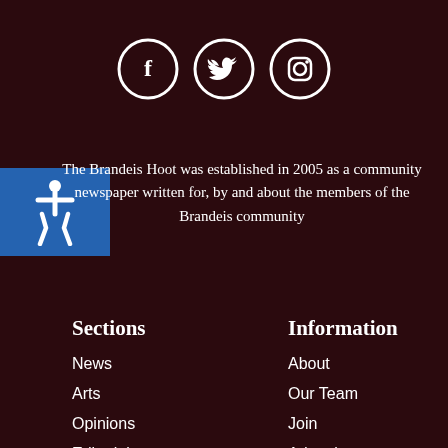[Figure (other): Three social media icons in circles: Facebook (f), Twitter (bird), Instagram (camera)]
[Figure (other): Blue accessibility icon badge with wheelchair symbol]
The Brandeis Hoot was established in 2005 as a community newspaper written for, by and about the members of the Brandeis community
Sections
News
Arts
Opinions
Editorials
Features
Sports
Information
About
Our Team
Join
Advertise
Contact